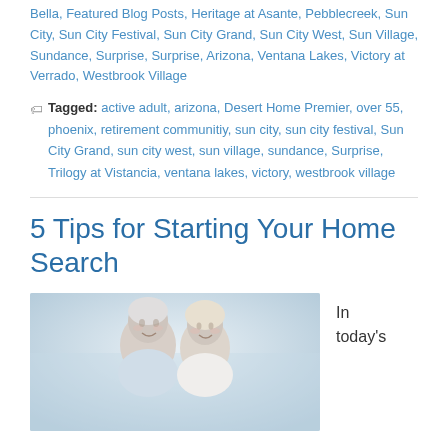Bella, Featured Blog Posts, Heritage at Asante, Pebblecreek, Sun City, Sun City Festival, Sun City Grand, Sun City West, Sun Village, Sundance, Surprise, Surprise, Arizona, Ventana Lakes, Victory at Verrado, Westbrook Village
Tagged: active adult, arizona, Desert Home Premier, over 55, phoenix, retirement communitiy, sun city, sun city festival, Sun City Grand, sun city west, sun village, sundance, Surprise, Trilogy at Vistancia, ventana lakes, victory, westbrook village
5 Tips for Starting Your Home Search
[Figure (photo): An older couple smiling, looking at something together, possibly a laptop or document. Light background.]
In today's